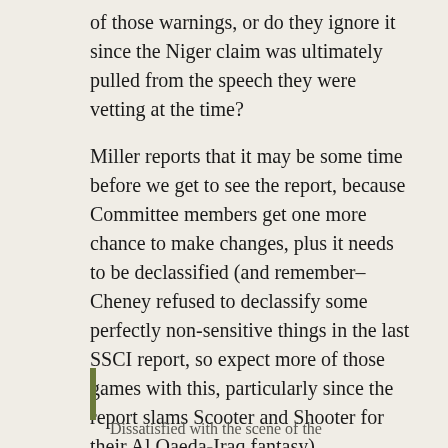of those warnings, or do they ignore it since the Niger claim was ultimately pulled from the speech they were vetting at the time?
Miller reports that it may be some time before we get to see the report, because Committee members get one more chance to make changes, plus it needs to be declassified (and remember–Cheney refused to declassify some perfectly non-sensitive things in the last SSCI report, so expect more of those games with this, particularly since the report slams Scooter and Shooter for their Al Qaeda-Iraq fantasy). Interestingly, the report may actually have relevance to the Democratic primary–Republicans are going to try to slam Hillary for her claims, as well.
Dissatisfied with the scene of the